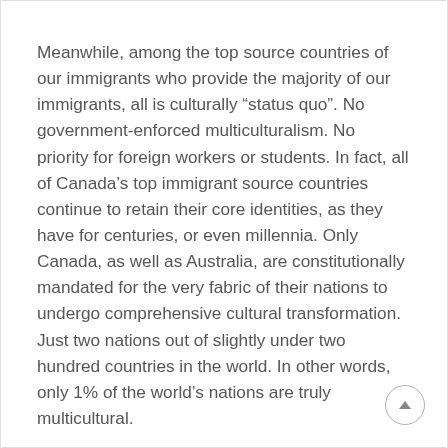Meanwhile, among the top source countries of our immigrants who provide the majority of our immigrants, all is culturally “status quo”. No government-enforced multiculturalism. No priority for foreign workers or students. In fact, all of Canada’s top immigrant source countries continue to retain their core identities, as they have for centuries, or even millennia. Only Canada, as well as Australia, are constitutionally mandated for the very fabric of their nations to undergo comprehensive cultural transformation. Just two nations out of slightly under two hundred countries in the world. In other words, only 1% of the world’s nations are truly multicultural.